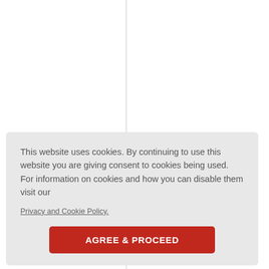This website uses cookies. By continuing to use this website you are giving consent to cookies being used. For information on cookies and how you can disable them visit our
Privacy and Cookie Policy.
AGREE & PROCEED
Samali et al. (1999) examined heat sho...